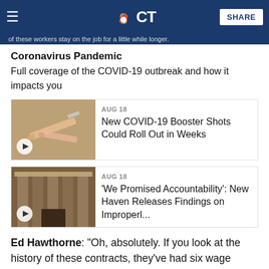NBC CT
Coronavirus Pandemic
Full coverage of the COVID-19 outbreak and how it impacts you
[Figure (photo): Video thumbnail showing medical syringes/vaccine vials]
AUG 18
New COVID-19 Booster Shots Could Roll Out in Weeks
[Figure (photo): Video thumbnail showing a building entrance with arched doorway]
AUG 18
'We Promised Accountability': New Haven Releases Findings on Improperl...
Ed Hawthorne: "Oh, absolutely. If you look at the history of these contracts, they've had six wage freezes in the past 12 years, employee concessions have saved the state $1.6 billion in the biennium. You know, the state's coffers are